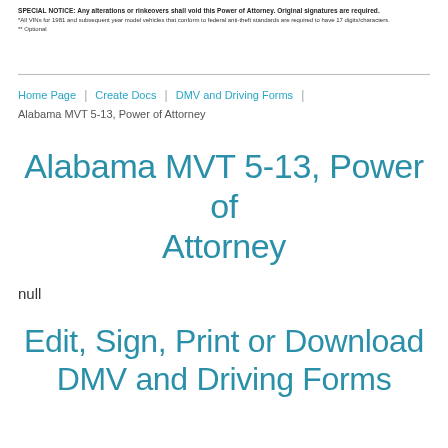SPECIAL NOTICE: Any alterations or rinkeovers shall void this Power of Attorney. Original signatures are required.
*All VINs for 1981 and subsequent year model vehicles that conform to federal anti-theft standards are required to have 17 digits/characters.
** Optional
Home Page | Create Docs | DMV and Driving Forms | Alabama MVT 5-13, Power of Attorney
Alabama MVT 5-13, Power of Attorney
null
Edit, Sign, Print or Download DMV and Driving Forms